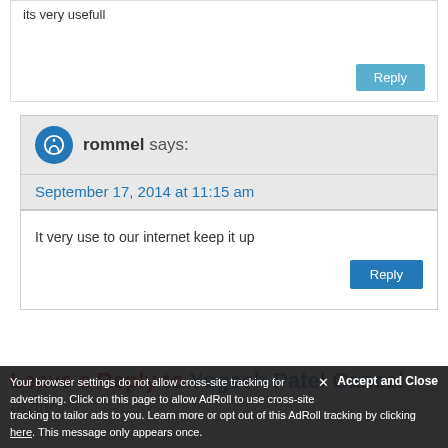its very usefull
Reply
rommel says:
September 17, 2014 at 11:15 am
It very use to our internet keep it up
Reply
Leave a Reply to Yogesh Patel Cancel reply
Your browser settings do not allow cross-site tracking for advertising. Click on this page to allow AdRoll to use cross-site tracking to tailor ads to you. Learn more or opt out of this AdRoll tracking by clicking here. This message only appears once.